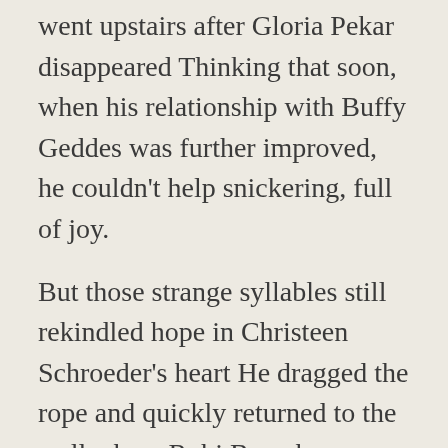went upstairs after Gloria Pekar disappeared Thinking that soon, when his relationship with Buffy Geddes was further improved, he couldn't help snickering, full of joy.
But those strange syllables still rekindled hope in Christeen Schroeder's heart He dragged the rope and quickly returned to the wall where Rubi Buresh was.
mad dog family must have been uprooted, and it is very unlikely that the main members of the mad dog family will survive And Cbd Beauty Products Do Hemp Harts Have Cbd those hospital staff who were controlled by the mad dog family became restless like ants on a hot pot.
The target has disappeared, and the time is about 70 minutes Please command the Hemp Cbd Difference Hemp Cbd Cigarette Hemp Cbd Vs Hemp Oil Hemp Cbd Legalality commander, and the report is completed! Physician's burly man,